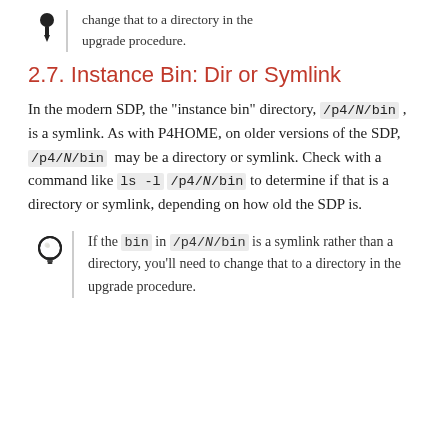change that to a directory in the upgrade procedure.
2.7. Instance Bin: Dir or Symlink
In the modern SDP, the "instance bin" directory, /p4/N/bin , is a symlink. As with P4HOME, on older versions of the SDP, /p4/N/bin may be a directory or symlink. Check with a command like ls -l /p4/N/bin to determine if that is a directory or symlink, depending on how old the SDP is.
If the bin in /p4/N/bin is a symlink rather than a directory, you'll need to change that to a directory in the upgrade procedure.